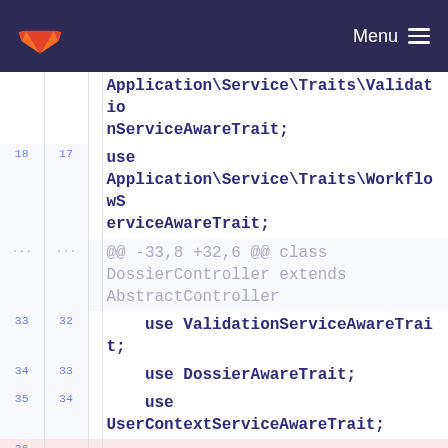GitLab Menu
[Figure (screenshot): GitLab diff view showing code changes to a PHP controller file. Lines 18/17 show 'use Application\Service\Traits\WorkflowServiceAwareTrait;', context lines show @@ -33,8 +32,6 @@ class DossierController extends AbstractController, lines 33-35/32-34 show use statements, lines 36-37 are deleted (use IntervenantDossierServiceAwareTrait; and blank), lines 38-40/35-37 are blank and comment start, and @@ -168,7 +165,10 @@ class DossierController extends at bottom.]